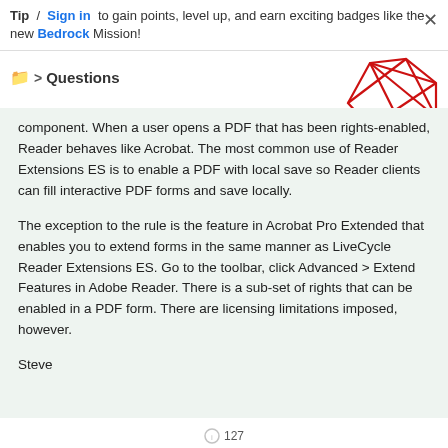Tip / Sign in to gain points, level up, and earn exciting badges like the new Bedrock Mission!
Questions
[Figure (illustration): Decorative geometric illustration with red angular shapes and an orange circle in the top-right corner]
component. When a user opens a PDF that has been rights-enabled, Reader behaves like Acrobat. The most common use of Reader Extensions ES is to enable a PDF with local save so Reader clients can fill interactive PDF forms and save locally.
The exception to the rule is the feature in Acrobat Pro Extended that enables you to extend forms in the same manner as LiveCycle Reader Extensions ES. Go to the toolbar, click Advanced > Extend Features in Adobe Reader. There is a sub-set of rights that can be enabled in a PDF form. There are licensing limitations imposed, however.
Steve
127